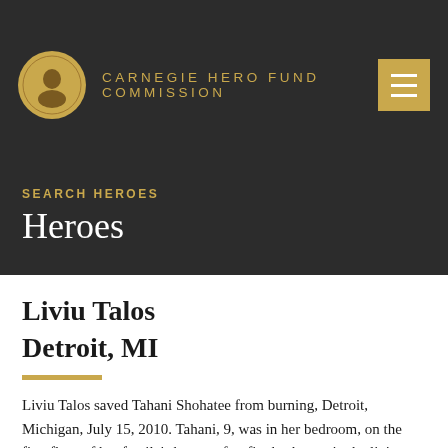CARNEGIE HERO FUND COMMISSION
SEARCH HEROES
Heroes
Liviu Talos
Detroit, MI
Liviu Talos saved Tahani Shohatee from burning, Detroit, Michigan, July 15, 2010. Tahani, 9, was in her bedroom, on the first floor of her family's house, after fire broke out in the living room at night and filled the floor with dense smoke. Talos, 45, construction worker, was alerted to the fire and